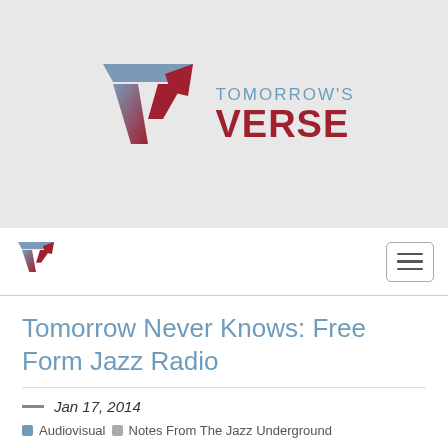[Figure (logo): Tomorrow's Verse logo with a large stylized V in dark red/gray and the text TOMORROW'S VERSE in dark red]
[Figure (logo): Small Tomorrow's Verse V logo in navbar]
Tomorrow Never Knows: Free Form Jazz Radio
Jan 17, 2014
Audiovisual  Notes From The Jazz Underground